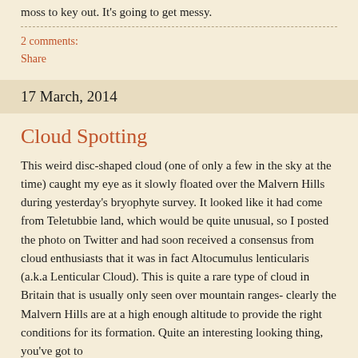moss to key out. It's going to get messy.
2 comments:
Share
17 March, 2014
Cloud Spotting
This weird disc-shaped cloud (one of only a few in the sky at the time) caught my eye as it slowly floated over the Malvern Hills during yesterday's bryophyte survey. It looked like it had come from Teletubbie land, which would be quite unusual, so I posted the photo on Twitter and had soon received a consensus from cloud enthusiasts that it was in fact Altocumulus lenticularis (a.k.a Lenticular Cloud). This is quite a rare type of cloud in Britain that is usually only seen over mountain ranges- clearly the Malvern Hills are at a high enough altitude to provide the right conditions for its formation. Quite an interesting looking thing, you've got to